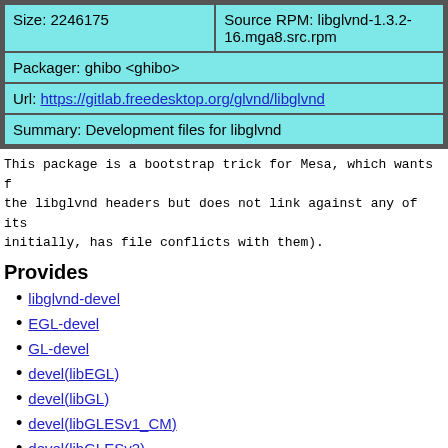| Size: 2246175 | Source RPM: libglvnd-1.3.2-16.mga8.src.rpm |
| Packager: ghibo <ghibo> |  |
| Url: https://gitlab.freedesktop.org/glvnd/libglvnd |  |
| Summary: Development files for libglvnd |  |
This package is a bootstrap trick for Mesa, which wants the libglvnd headers but does not link against any of its initially, has file conflicts with them).
Provides
libglvnd-devel
EGL-devel
GL-devel
devel(libEGL)
devel(libGL)
devel(libGLESv1_CM)
devel(libGLESv2)
devel(libGLX)
devel(libGLdispatch)